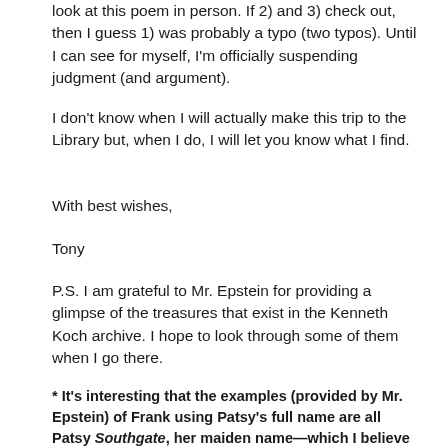look at this poem in person. If 2) and 3) check out, then I guess 1) was probably a typo (two typos). Until I can see for myself, I'm officially suspending judgment (and argument).
I don't know when I will actually make this trip to the Library but, when I do, I will let you know what I find.
With best wishes,
Tony
P.S. I am grateful to Mr. Epstein for providing a glimpse of the treasures that exist in the Kenneth Koch archive. I hope to look through some of them when I go there.
* It's interesting that the examples (provided by Mr. Epstein) of Frank using Patsy's full name are all Patsy Southgate, her maiden name—which I believe she